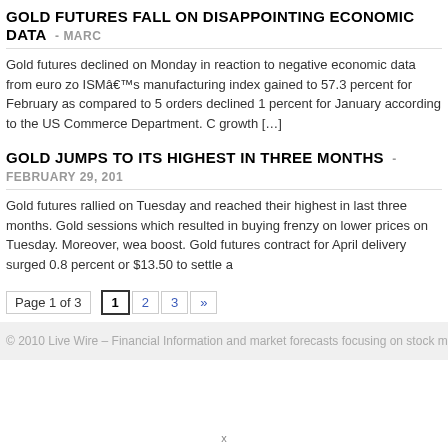GOLD FUTURES FALL ON DISAPPOINTING ECONOMIC DATA - MARC
Gold futures declined on Monday in reaction to negative economic data from euro zo ISMâ€™s manufacturing index gained to 57.3 percent for February as compared to 5 orders declined 1 percent for January according to the US Commerce Department. C growth [...]
GOLD JUMPS TO ITS HIGHEST IN THREE MONTHS - FEBRUARY 29, 201
Gold futures rallied on Tuesday and reached their highest in last three months. Gold sessions which resulted in buying frenzy on lower prices on Tuesday. Moreover, wea boost. Gold futures contract for April delivery surged 0.8 percent or $13.50 to settle a
Page 1 of 3  1  2  3  »
© 2010 Live Wire – Financial Information and market forecasts focusing on stock markets, g